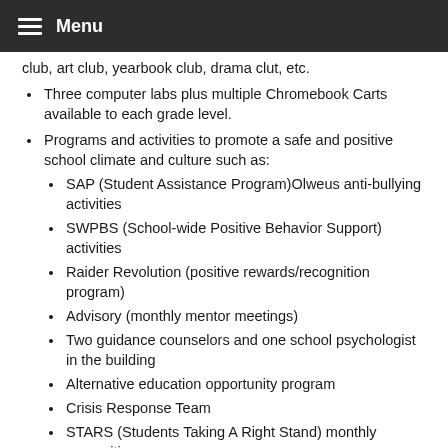Menu
club, art club, yearbook club, drama clut, etc.
Three computer labs plus multiple Chromebook Carts available to each grade level.
Programs and activities to promote a safe and positive school climate and culture such as:
SAP (Student Assistance Program)Olweus anti-bullying activities
SWPBS (School-wide Positive Behavior Support) activities
Raider Revolution (positive rewards/recognition program)
Advisory (monthly mentor meetings)
Two guidance counselors and one school psychologist in the building
Alternative education opportunity program
Crisis Response Team
STARS (Students Taking A Right Stand) monthly recognition.